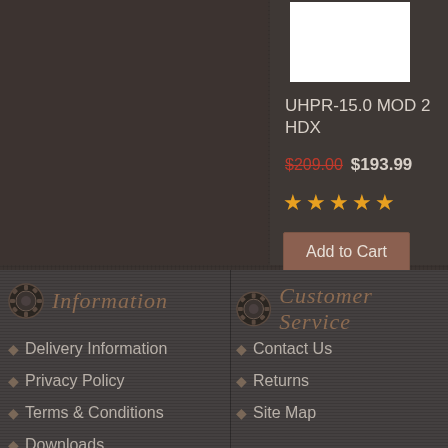[Figure (photo): White product image box (product photo placeholder)]
UHPR-15.0 MOD 2 HDX
$209.00 $193.99
[Figure (other): 5 orange star rating icons]
Add to Cart
Information
Customer Service
Delivery Information
Privacy Policy
Terms & Conditions
Downloads
Contact Us
Returns
Site Map